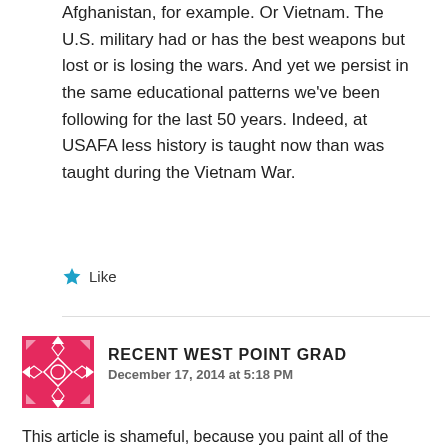Afghanistan, for example. Or Vietnam. The U.S. military had or has the best weapons but lost or is losing the wars. And yet we persist in the same educational patterns we've been following for the last 50 years. Indeed, at USAFA less history is taught now than was taught during the Vietnam War.
Like
RECENT WEST POINT GRAD
December 17, 2014 at 5:18 PM
This article is shameful, because you paint all of the service academies with a broad brush as if they have the same problems as USAFA, which is the youngest and (in my admittedly biased, but also informed, opinion) least impressive of them all. Having spent